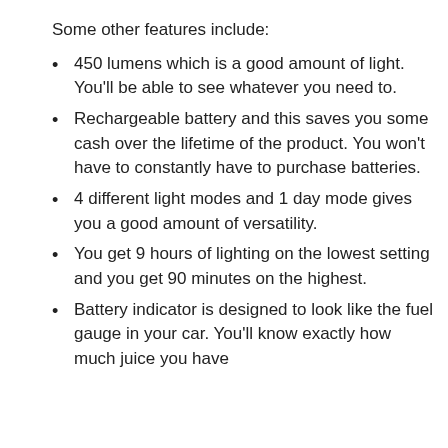Some other features include:
450 lumens which is a good amount of light. You'll be able to see whatever you need to.
Rechargeable battery and this saves you some cash over the lifetime of the product. You won't have to constantly have to purchase batteries.
4 different light modes and 1 day mode gives you a good amount of versatility.
You get 9 hours of lighting on the lowest setting and you get 90 minutes on the highest.
Battery indicator is designed to look like the fuel gauge in your car. You'll know exactly how much juice you have